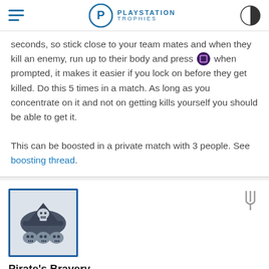PLAYSTATION TROPHIES
seconds, so stick close to your team mates and when they kill an enemy, run up to their body and press [square] when prompted, it makes it easier if you lock on before they get killed. Do this 5 times in a match. As long as you concentrate on it and not on getting kills yourself you should be able to get it.

This can be boosted in a private match with 3 people. See boosting thread.
[Figure (illustration): Trophy icon: pirate captain skull with crossbones and three small skulls below, dark blue/grey color scheme on light background with blue border frame]
Pirate's Bravery
Use the Bodyguard against your pursuer as The Privateer (Multiplayer).
(15)
The Priva...